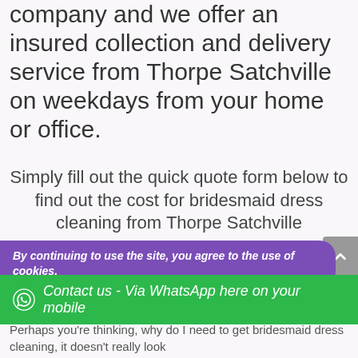company and we offer an insured collection and delivery service from Thorpe Satchville on weekdays from your home or office.
Simply fill out the quick quote form below to find out the cost for bridesmaid dress cleaning from Thorpe Satchville
Why bridesmaid dress cleaning?
Perhaps you're thinking, why do I need to get bridesmaid dress cleaning, it doesn't really look
By continuing to use the site, you agree to the use of cookies.
Contact us - Via WhatsApp here on your mobile